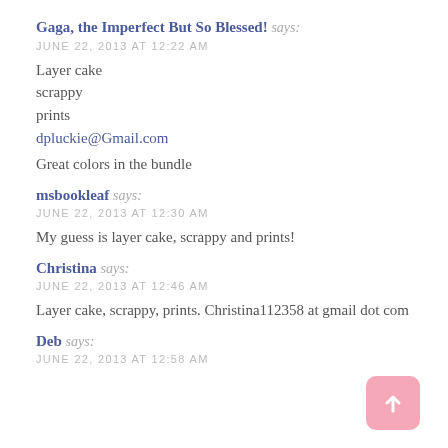Gaga, the Imperfect But So Blessed! says:
JUNE 22, 2013 AT 12:22 AM
Layer cake
scrappy
prints
dpluckie@Gmail.com
Great colors in the bundle
msbookleaf says:
JUNE 22, 2013 AT 12:30 AM
My guess is layer cake, scrappy and prints!
Christina says:
JUNE 22, 2013 AT 12:46 AM
Layer cake, scrappy, prints. Christina112358 at gmail dot com
Deb says:
JUNE 22, 2013 AT 12:58 AM